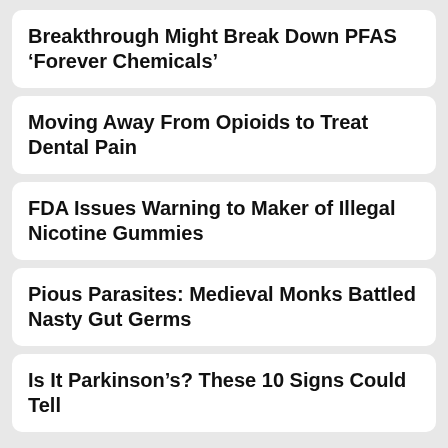Breakthrough Might Break Down PFAS ‘Forever Chemicals’
Moving Away From Opioids to Treat Dental Pain
FDA Issues Warning to Maker of Illegal Nicotine Gummies
Pious Parasites: Medieval Monks Battled Nasty Gut Germs
Is It Parkinson’s? These 10 Signs Could Tell